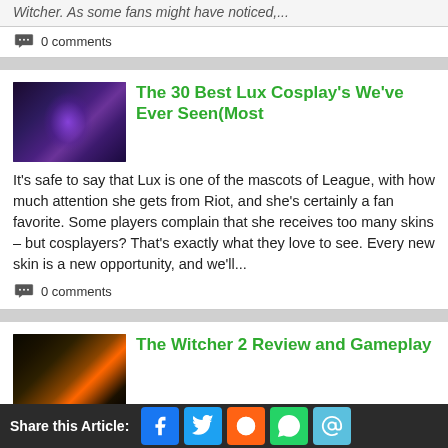Witcher. As some fans might have noticed,...
0 comments
[Figure (photo): Lux character from League of Legends in fantasy dark purple setting]
The 30 Best Lux Cosplay's We've Ever Seen(Most
It's safe to say that Lux is one of the mascots of League, with how much attention she gets from Riot, and she's certainly a fan favorite. Some players complain that she receives too many skins – but cosplayers? That's exactly what they love to see. Every new skin is a new opportunity, and we'll...
0 comments
[Figure (photo): The Witcher 2 game artwork showing dragon with fire]
The Witcher 2 Review and Gameplay
The Witcher 2 is simply one of the best RPGs the market has seen in years. The award-winning game franchise from CD Projekt Red returns for a second installment with jaw-dropping graphics and rich storyline that will get players hooked into the Bl...
Share this Article: